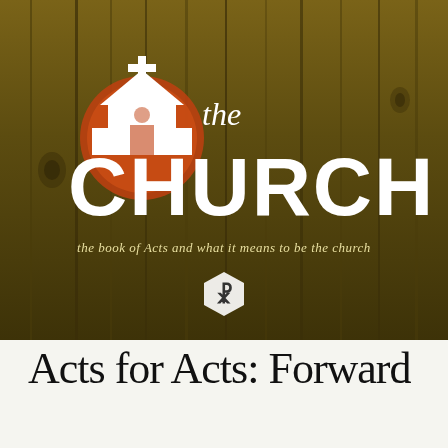[Figure (logo): Church logo on wood-panel background: white church building icon with cross on top and orange/red circle accent, next to italic 'the' above bold large 'CHURCH' in white. Subtitle reads 'the book of Acts and what it means to be the church'. Chi-Rho symbol badge below.]
Acts for Acts: Forward